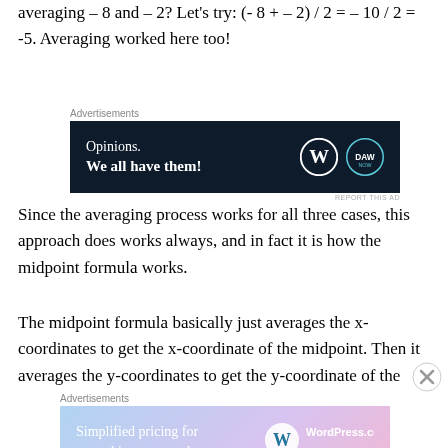averaging – 8 and – 2? Let's try: (- 8 + – 2) / 2 = – 10 / 2 = -5. Averaging worked here too!
[Figure (other): Advertisement banner: dark navy background with text 'Opinions. We all have them!' and WordPress/DaoNow logos]
Since the averaging process works for all three cases, this approach does works always, and in fact it is how the midpoint formula works.
The midpoint formula basically just averages the x-coordinates to get the x-coordinate of the midpoint. Then it averages the y-coordinates to get the y-coordinate of the
[Figure (other): Advertisement banner: gradient pink/purple/blue background with text 'Simplified pricing for everything you need.' and WordPress.com logo]